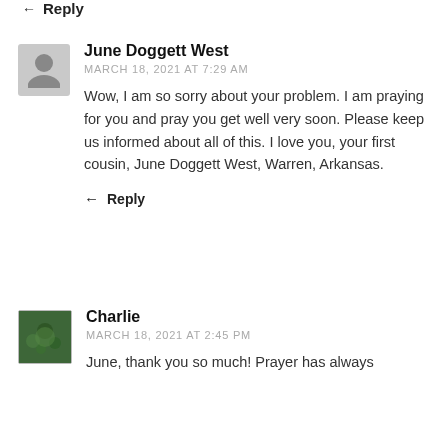Reply
June Doggett West
MARCH 18, 2021 AT 7:29 AM
Wow, I am so sorry about your problem. I am praying for you and pray you get well very soon. Please keep us informed about all of this. I love you, your first cousin, June Doggett West, Warren, Arkansas.
Reply
Charlie
MARCH 18, 2021 AT 2:45 PM
June, thank you so much! Prayer has always